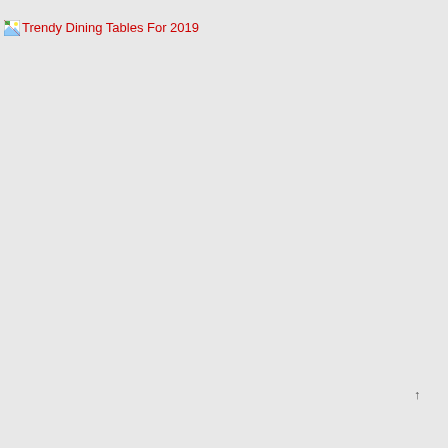[Figure (other): Broken image placeholder with alt text 'Trendy Dining Tables For 2019', shown as a small broken image icon followed by red link text]
↑